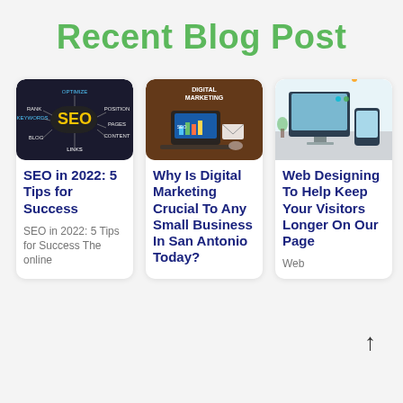Recent Blog Post
[Figure (photo): SEO diagram with dark background showing words: OPTIMIZE, RANK, POSITION, KEYWORDS, BLOG, PAGES, CONTENT, LINKS, with SEO in yellow text at center]
SEO in 2022: 5 Tips for Success
SEO in 2022: 5 Tips for Success The online
[Figure (photo): Digital Marketing image with laptop, envelope, and charts on a brick wall background, with DIGITAL MARKETING text and SEO label]
Why Is Digital Marketing Crucial To Any Small Business In San Antonio Today?
[Figure (photo): Web design image showing desktop monitor and tablet/phone devices on a white desk with plant]
Web Designing To Help Keep Your Visitors Longer On Our Page
Web